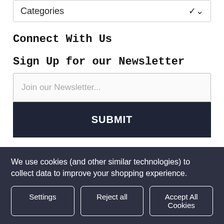Categories
Connect With Us
Sign Up for our Newsletter
Join our Newsletter...
SUBMIT
Payment Method
[Figure (logo): Mastercard logo - two overlapping circles, red and orange]
[Figure (logo): Visa logo - blue VISA text]
We use cookies (and other similar technologies) to collect data to improve your shopping experience.
Settings
Reject all
Accept All Cookies